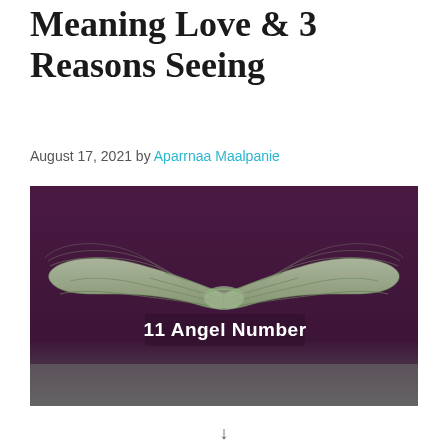Meaning Love & 3 Reasons Seeing
August 17, 2021 by Aparrnaa Maalpanie
[Figure (photo): A mural of angel wings painted on a dark purple/maroon wall with the text '11 Angel Number' overlaid in white bold font.]
↓